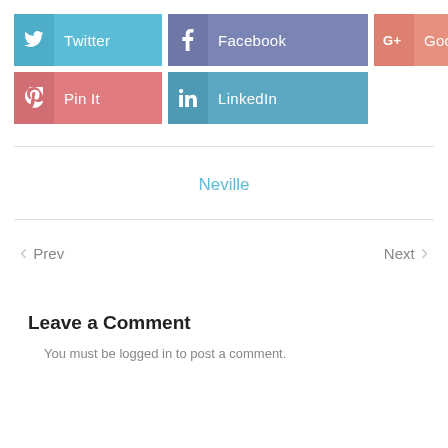[Figure (infographic): Social share buttons: Twitter (blue), Facebook (purple), Google+ (coral/salmon), Pin It (pink/red), LinkedIn (teal)]
Neville
Prev
Next
Leave a Comment
You must be logged in to post a comment.